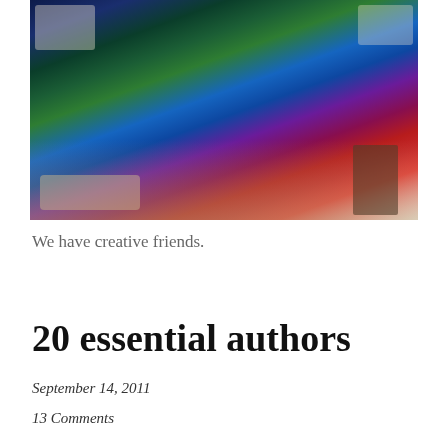[Figure (photo): A young woman with glasses and brown hair wearing a red floral cardigan over a denim jumper, making a grimacing expression, standing in a kitchen with a colorful space-themed tapestry behind her.]
We have creative friends.
20 essential authors
September 14, 2011
13 Comments